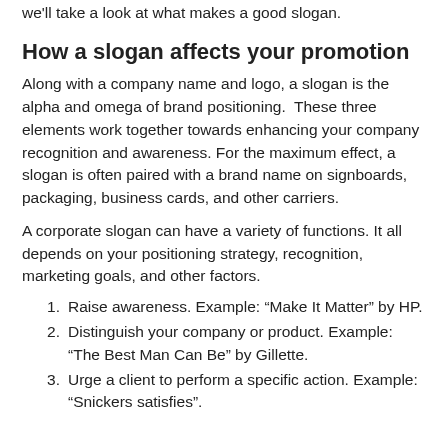we'll take a look at what makes a good slogan.
How a slogan affects your promotion
Along with a company name and logo, a slogan is the alpha and omega of brand positioning.  These three elements work together towards enhancing your company recognition and awareness. For the maximum effect, a slogan is often paired with a brand name on signboards, packaging, business cards, and other carriers.
A corporate slogan can have a variety of functions. It all depends on your positioning strategy, recognition, marketing goals, and other factors.
Raise awareness. Example: “Make It Matter” by HP.
Distinguish your company or product. Example: “The Best Man Can Be” by Gillette.
Urge a client to perform a specific action. Example: “Snickers satisfies”.